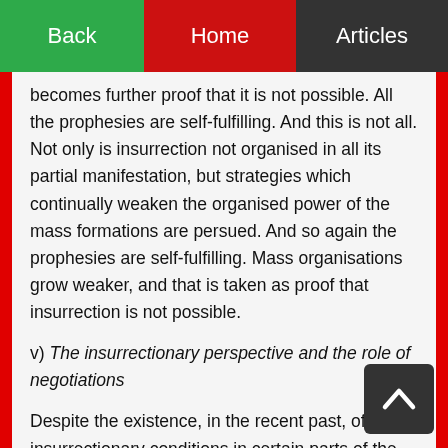Back  Home  Articles
becomes further proof that it is not possible. All the prophesies are self-fulfilling. And this is not all. Not only is insurrection not organised in all its partial manifestation, but strategies which continually weaken the organised power of the mass formations are persued. And so again the prophesies are self-fulfilling. Mass organisations grow weaker, and that is taken as proof that insurrection is not possible.
v) The insurrectionary perspective and the role of negotiations
Despite the existence, in the recent past, of insurrectionary conditions in certain parts of the country, it is clear that the situation in the rest of the